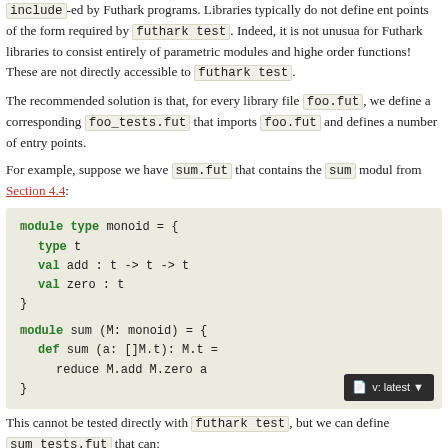include-ed by Futhark programs. Libraries typically do not define entry points of the form required by futhark test. Indeed, it is not unusual for Futhark libraries to consist entirely of parametric modules and higher order functions! These are not directly accessible to futhark test.
The recommended solution is that, for every library file foo.fut, we define a corresponding foo_tests.fut that imports foo.fut and defines a number of entry points.
For example, suppose we have sum.fut that contains the sum module from Section 4.4:
[Figure (screenshot): Code block showing Futhark module type monoid and module sum definitions]
This cannot be tested directly with futhark test, but we can define sum_tests.fut that can: